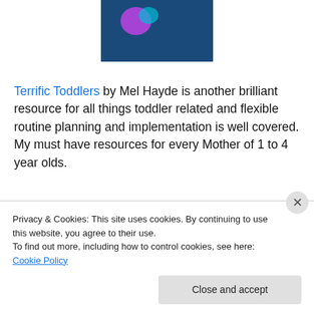[Figure (illustration): Book cover for 'Terrific Toddlers' by Mel Hayde, dark blue background with author name in light blue text]
Terrific Toddlers by Mel Hayde is another brilliant resource for all things toddler related and flexible routine planning and implementation is well covered. My must have resources for every Mother of 1 to 4 year olds.
Privacy & Cookies: This site uses cookies. By continuing to use this website, you agree to their use.
To find out more, including how to control cookies, see here: Cookie Policy
Close and accept